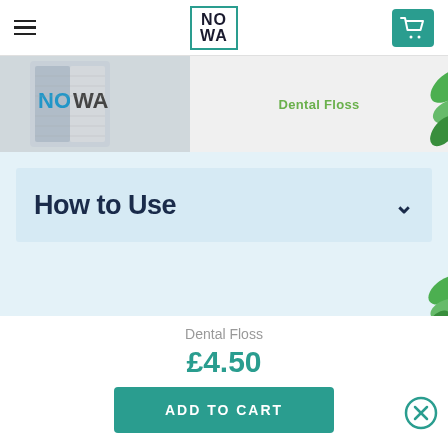NOWA
[Figure (photo): Product images strip showing NOWA branded container and dental floss packaging]
How to Use
[Figure (photo): Person with dark hair on teal background holding a toothbrush]
Dental Floss
£4.50
ADD TO CART